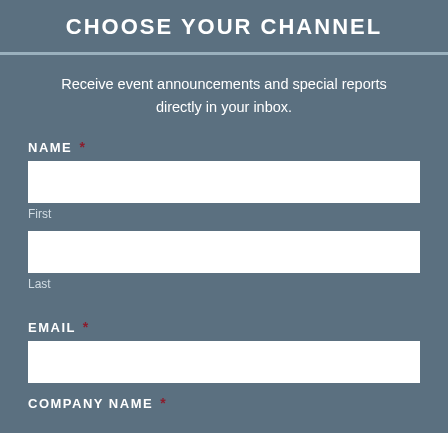CHOOSE YOUR CHANNEL
Receive event announcements and special reports directly in your inbox.
NAME *
First
Last
EMAIL *
COMPANY NAME *